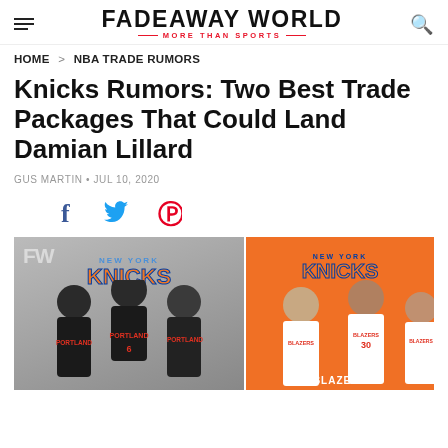FADEAWAY WORLD · MORE THAN SPORTS
HOME > NBA TRADE RUMORS
Knicks Rumors: Two Best Trade Packages That Could Land Damian Lillard
GUS MARTIN · JUL 10, 2020
[Figure (illustration): Social media share icons: Facebook (f), Twitter (bird), Pinterest (P)]
[Figure (photo): Two side-by-side composite images showing New York Knicks trade package scenarios. Left panel shows players in Portland Trail Blazers black jerseys with New York Knicks logo. Right panel shows players in white Blazers jerseys on orange background with New York Knicks logo.]